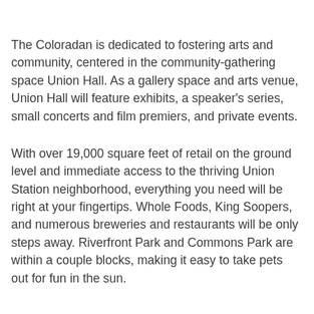The Coloradan is dedicated to fostering arts and community, centered in the community-gathering space Union Hall. As a gallery space and arts venue, Union Hall will feature exhibits, a speaker's series, small concerts and film premiers, and private events.
With over 19,000 square feet of retail on the ground level and immediate access to the thriving Union Station neighborhood, everything you need will be right at your fingertips. Whole Foods, King Soopers, and numerous breweries and restaurants will be only steps away. Riverfront Park and Commons Park are within a couple blocks, making it easy to take pets out for fun in the sun.